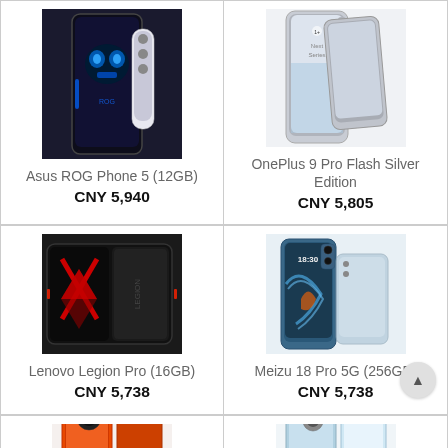[Figure (photo): Asus ROG Phone 5 (12GB) product photo]
Asus ROG Phone 5 (12GB)
CNY 5,940
[Figure (photo): OnePlus 9 Pro Flash Silver Edition product photo]
OnePlus 9 Pro Flash Silver Edition
CNY 5,805
[Figure (photo): Lenovo Legion Pro (16GB) product photo]
Lenovo Legion Pro (16GB)
CNY 5,738
[Figure (photo): Meizu 18 Pro 5G (256GB) product photo]
Meizu 18 Pro 5G (256GB)
CNY 5,738
[Figure (photo): Partial phone product photo (orange/red)]
[Figure (photo): Partial phone product photo (light blue/silver)]